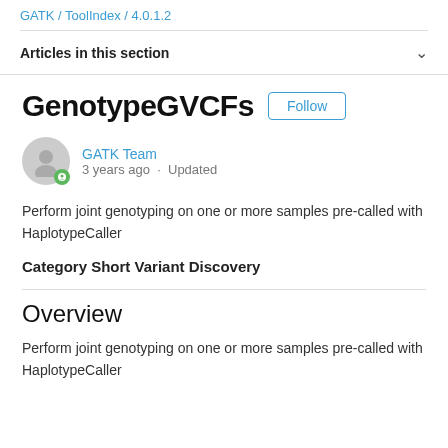GATK / ToolIndex / 4.0.1.2
Articles in this section
GenotypeGVCFs
GATK Team
3 years ago · Updated
Perform joint genotyping on one or more samples pre-called with HaplotypeCaller
Category Short Variant Discovery
Overview
Perform joint genotyping on one or more samples pre-called with HaplotypeCaller